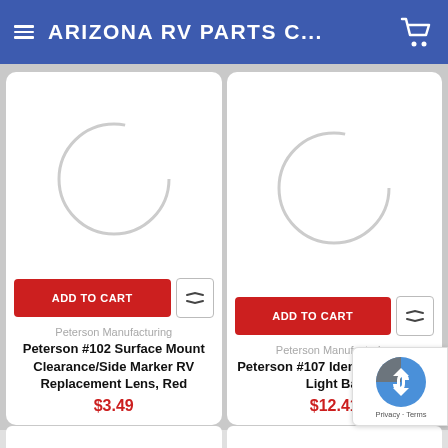ARIZONA RV PARTS C...
[Figure (screenshot): Loading spinner arc (crescent shape) for left product card]
ADD TO CART
Peterson Manufacturing
Peterson #102 Surface Mount Clearance/Side Marker RV Replacement Lens, Red
$3.49
[Figure (screenshot): Loading spinner arc (crescent shape) for right product card]
ADD TO CART
Peterson Manufacturing
Peterson #107 Identification RV Light Bar
$12.41
[Figure (logo): Google reCAPTCHA logo with Privacy and Terms links]